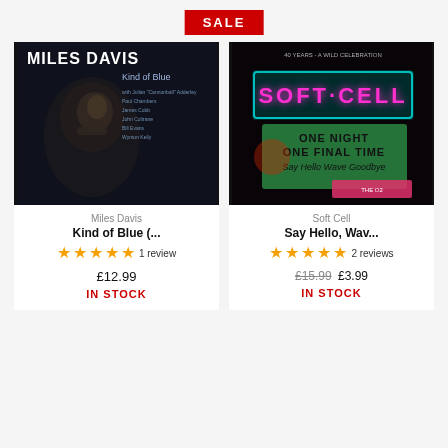SALE
[Figure (photo): Miles Davis - Kind of Blue album cover: dark monochrome photo of Miles Davis with text overlay]
Miles Davis
Kind of Blue (...
★★★★★ 1 review
£12.99
IN STOCK
[Figure (photo): Soft Cell - Say Hello Wave Goodbye: neon sign reading SOFT CELL with billboard ONE NIGHT ONE FINAL TIME Say Hello Wave Goodbye at The O2]
Soft Cell
Say Hello, Wav...
★★★★★ 2 reviews
£15.99 £3.99
IN STOCK